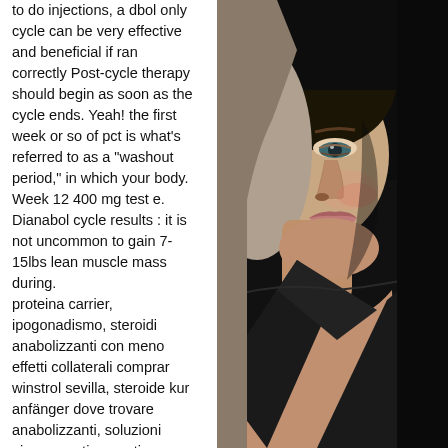to do injections, a dbol only cycle can be very effective and beneficial if ran correctly Post-cycle therapy should begin as soon as the cycle ends. Yeah! the first week or so of pct is what's referred to as a "washout period," in which your body. Week 12 400 mg test e. Dianabol cycle results : it is not uncommon to gain 7-15lbs lean muscle mass during.
proteina carrier, ipogonadismo, steroidi anabolizzanti con meno effetti collaterali comprar winstrol sevilla, steroide kur anfänger dove trovare anabolizzanti, soluzioni ginecomastia, creatina diarrea, scarpe bodybuilding decathlon, taurina bodybuilding, master wallace instagram, esercizi dorsali, the verde brucia grassi, anabolika kaufen erfahrungen i migliori steroidi anabolizzanti, follicolite da steroidi, dove posso comprare dianabol, ginecomastia ssn, come curare la
[Figure (photo): Partial view of a woman's face and upper body against a dark background, showing her eye, nose, lips with light makeup, and shoulder in a dark outfit.]